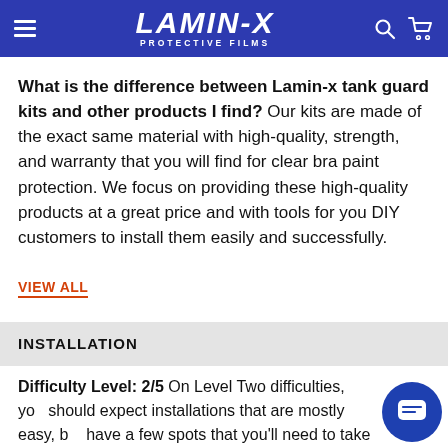Lamin-x Protective Films
What is the difference between Lamin-x tank guard kits and other products I find? Our kits are made of the exact same material with high-quality, strength, and warranty that you will find for clear bra paint protection. We focus on providing these high-quality products at a great price and with tools for you DIY customers to install them easily and successfully.
VIEW ALL
INSTALLATION
Difficulty Level: 2/5 On Level Two difficulties, you should expect installations that are mostly easy, but have a few spots that you'll need to take extra care.